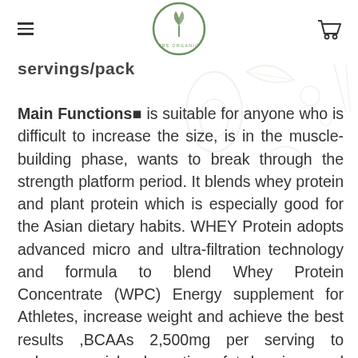JRS ORGANIC logo, hamburger menu, cart icon
servings/pack
Main Functions■ is suitable for anyone who is difficult to increase the size, is in the muscle-building phase, wants to break through the strength platform period. It blends whey protein and plant protein which is especially good for the Asian dietary habits. WHEY Protein adopts advanced micro and ultra-filtration technology and formula to blend Whey Protein Concentrate (WPC) Energy supplement for Athletes, increase weight and achieve the best results ,BCAAs 2,500mg per serving to enhance quick absorption, fat burning, and lean muscle building, Provide 17 grams of premium protein per serving , It is Sugar-free, Gluten-free and Transfat-free It has scientific pursuit to facilitate your lean muscle growth, optimize